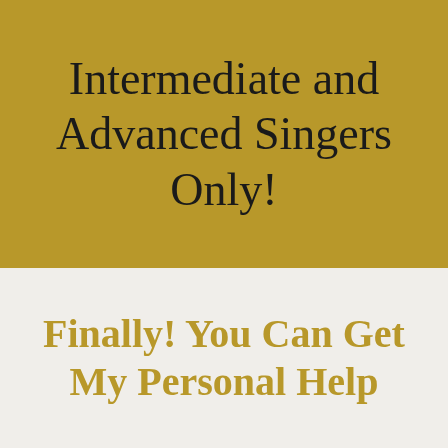Intermediate and Advanced Singers Only!
Finally! You Can Get My Personal Help